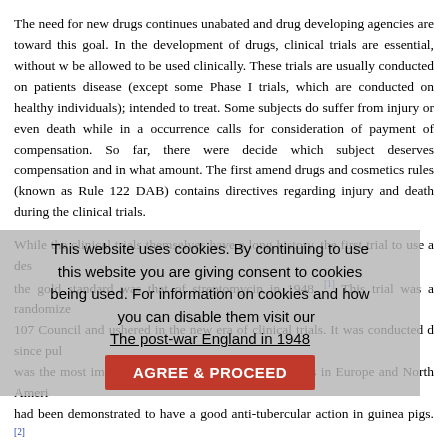The need for new drugs continues unabated and drug developing agencies are toward this goal. In the development of drugs, clinical trials are essential, without w be allowed to be used clinically. These trials are usually conducted on patients disease (except some Phase I trials, which are conducted on healthy individuals); intended to treat. Some subjects do suffer from injury or even death while in a occurrence calls for consideration of payment of compensation. So far, there were decide which subject deserves compensation and in what amount. The first amend drugs and cosmetics rules (known as Rule 122 DAB) contains directives regarding injury and death during the clinical trials.
While the clinical trials themselves have a long history, the first trial to use a des the gold standard was that of streptomycin in 1948. [1] This trial was a randomize 107 Council and ushered in the new era of clinical trials. It was conducted d since pul was the most important cause of death of young adults in Europe and North Ameri had been demonstrated to have a good anti-tubercular action in guinea pigs. [2]
The post-war England in 1948 was limited in resources, including the trial drug a used very judiciously. In order to design the trial, a number of people were roped in Marshall, Philip D'Arcy Hart and Austin Bradford Hill. That it was the use of statistic demonstrated the efficacy of streptomycin is another story; it is the death rate in examination. In the streptomycin group, 4 out of 55 patients died while in the bed r rate was 15 out of 52 patients. The hypothetical question is, should these 19 p nominees been compensated? As per the Rule 122 DAB, they would have to be